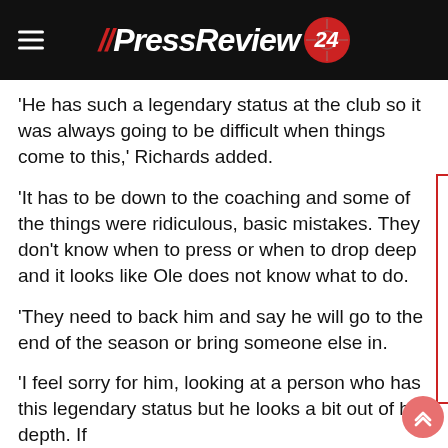// PressReview 24
'He has such a legendary status at the club so it was always going to be difficult when things come to this,' Richards added.
'It has to be down to the coaching and some of the things were ridiculous, basic mistakes. They don't know when to press or when to drop deep and it looks like Ole does not know what to do.
'They need to back him and say he will go to the end of the season or bring someone else in.
'I feel sorry for him, looking at a person who has this legendary status but he looks a bit out of his depth. If